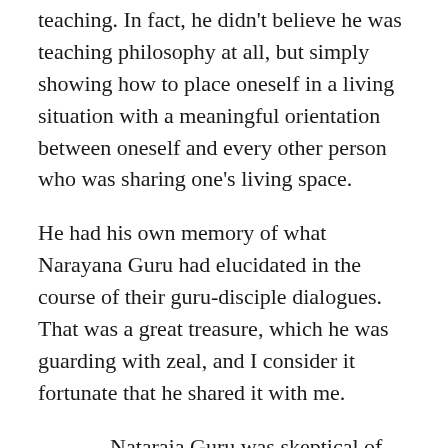teaching. In fact, he didn't believe he was teaching philosophy at all, but simply showing how to place oneself in a living situation with a meaningful orientation between oneself and every other person who was sharing one's living space.
He had his own memory of what Narayana Guru had elucidated in the course of their guru-disciple dialogues. That was a great treasure, which he was guarding with zeal, and I consider it fortunate that he shared it with me.
Nataraja Guru was skeptical of Indian authors, especially those who wrote in English or translated from Sanskrit to English. He had already started revising Sankara's text and commentary on the Vedanta Sutras with me, and I thought I should study